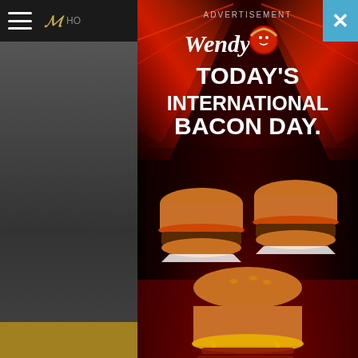[Figure (screenshot): A Wendy's advertisement overlay on a news website. The ad has a dark background with red light streaks and shows three Baconator burgers. Text reads 'ADVERTISEMENT', 'Wendy's', 'TODAY'S INTERNATIONAL BACON DAY.', 'IT'D BE RUDE NOT TO, RIGHT?', 'AVAILABLE ON Uber Eats', and 'THE BACONATOR RANGE'. A close button (X) appears in the top right corner in blue.]
ADVERTISEMENT
Wendy's
TODAY'S INTERNATIONAL BACON DAY.
IT'D BE RUDE NOT TO, RIGHT?
AVAILABLE ON
Uber Eats
THE BACONATOR RANGE
PROMOTED
Get summ... app
Amazon Alex...